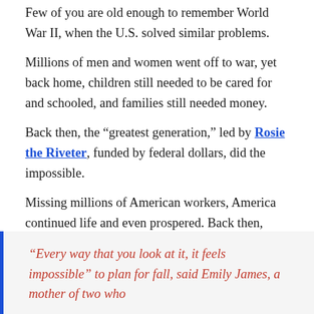Few of you are old enough to remember World War II, when the U.S. solved similar problems.
Millions of men and women went off to war, yet back home, children still needed to be cared for and schooled, and families still needed money.
Back then, the "greatest generation," led by Rosie the Riveter, funded by federal dollars, did the impossible.
Missing millions of American workers, America continued life and even prospered. Back then, people pulled together. That’s why they were known as the “greatest generation.”
“Every way that you look at it, it feels impossible” to plan for fall, said Emily James, a mother of two who